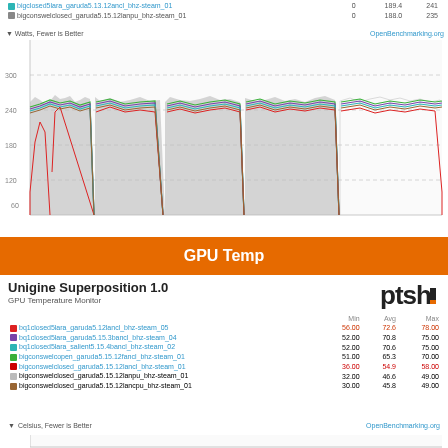|  | Min | Avg | Max |
| --- | --- | --- | --- |
| bigclosed5lara_garuda5.13.12ancl_bhz-steam_01 | 0 | 189.4 | 241 |
| bigconswelclosed_garuda5.15.12lanpu_bhz-steam_01 | 0 | 188.0 | 235 |
[Figure (continuous-plot): Multi-series continuous line/area chart showing Watts over time. Y-axis from 0 to ~300 with gridlines at 60, 120, 180, 240, 300. Multiple colored series (red, purple, teal, green, gray, brown) showing power consumption with dips to near 0 at three intervals.]
GPU Temp
Unigine Superposition 1.0
GPU Temperature Monitor
|  | Min | Avg | Max |
| --- | --- | --- | --- |
| bq1closed5lara_garuda5.12lancl_bhz-steam_05 | 56.00 | 72.6 | 78.00 |
| bq1closed5lara_garuda5.15.3bancl_bhz-steam_04 | 52.00 | 70.8 | 75.00 |
| bq1closed5lara_salient5.15.4bancl_bhz-steam_02 | 52.00 | 70.6 | 75.00 |
| bigconswelcopen_garuda5.15.12fancl_bhz-steam_01 | 51.00 | 65.3 | 70.00 |
| bigconswelclosed_garuda5.15.12lancl_bhz-steam_01 | 36.00 | 54.9 | 58.00 |
| bigconswelclosed_garuda5.15.12lanpu_bhz-steam_01 | 32.00 | 46.6 | 49.00 |
| bigconswelclosed_garuda5.15.12lancpu_bhz-steam_01 | 30.00 | 45.8 | 49.00 |
Celsius, Fewer is Better
OpenBenchmarking.org